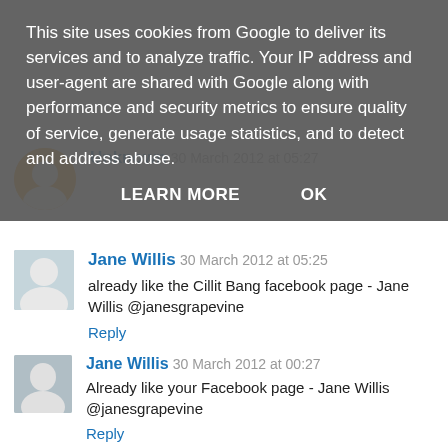This site uses cookies from Google to deliver its services and to analyze traffic. Your IP address and user-agent are shared with Google along with performance and security metrics to ensure quality of service, generate usage statistics, and to detect and address abuse.
LEARN MORE   OK
Jane Willis 30 March 2012 at 00:27
Already like your Facebook page - Jane Willis @janesgrapevine
Reply
Jane Willis 30 March 2012 at 05:25
already like the Cillit Bang facebook page - Jane Willis @janesgrapevine
Reply
Unknown 30 March 2012 at 05:27